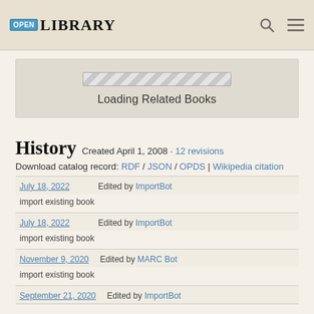OPEN LIBRARY
[Figure (other): Loading Related Books progress bar with diagonal stripe pattern]
Loading Related Books
History
Created April 1, 2008 · 12 revisions
Download catalog record: RDF / JSON / OPDS | Wikipedia citation
July 18, 2022 — Edited by ImportBot — import existing book
July 18, 2022 — Edited by ImportBot — import existing book
November 9, 2020 — Edited by MARC Bot — import existing book
September 21, 2020 — Edited by ImportBot